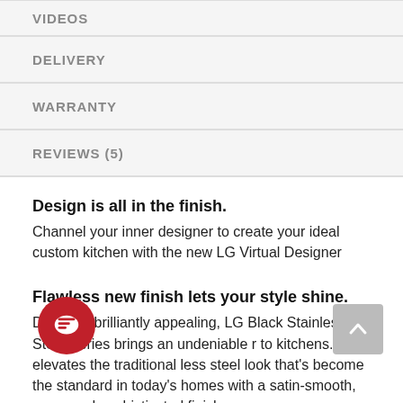VIDEOS
DELIVERY
WARRANTY
REVIEWS (5)
Design is all in the finish. Channel your inner designer to create your ideal custom kitchen with the new LG Virtual Designer
Flawless new finish lets your style shine. Deep yet brilliantly appealing, LG Black Stainless Steel Series brings an undeniable r to kitchens. It elevates the traditional less steel look that's become the standard in today's homes with a satin-smooth, warm and sophisticated finish-a